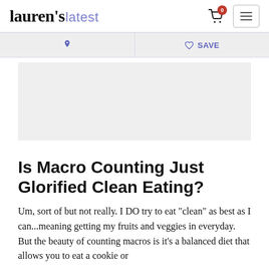lauren's latest
[Figure (screenshot): Action bar with Pinterest and Save buttons]
[Figure (photo): Gray placeholder image area]
Is Macro Counting Just Glorified Clean Eating?
Um, sort of but not really. I DO try to eat "clean" as best as I can...meaning getting my fruits and veggies in everyday. But the beauty of counting macros is it's a balanced diet that allows you to eat a cookie or